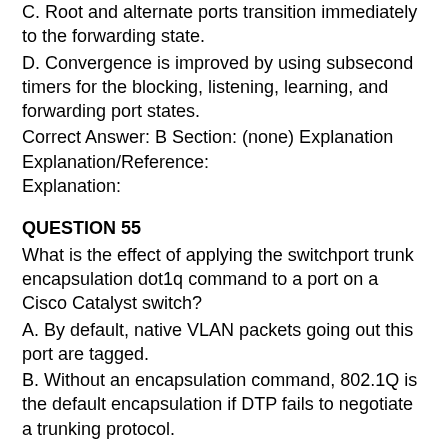C. Root and alternate ports transition immediately to the forwarding state.
D. Convergence is improved by using subsecond timers for the blocking, listening, learning, and forwarding port states.
Correct Answer: B Section: (none) Explanation Explanation/Reference:
Explanation:
QUESTION 55
What is the effect of applying the switchport trunk encapsulation dot1q command to a port on a Cisco Catalyst switch?
A. By default, native VLAN packets going out this port are tagged.
B. Without an encapsulation command, 802.1Q is the default encapsulation if DTP fails to negotiate a trunking protocol.
C. The interface supports the reception of tagged and untagged traffic.